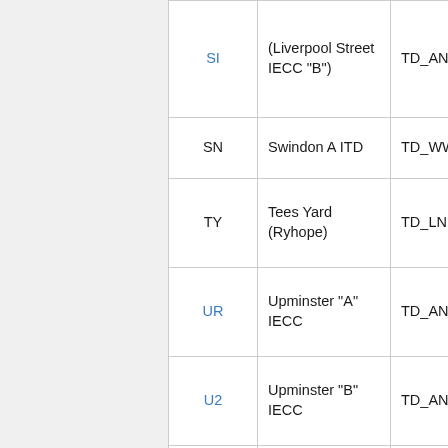| Code | Name | Reference |
| --- | --- | --- |
| SI | (Liverpool Street IECC "B") | TD_ANG_SIG_AR |
| SN | Swindon A ITD | TD_WWC_SIG_AR |
| TY | Tees Yard (Ryhope) | TD_LNE_NE_SIG_ |
| UR | Upminster "A" IECC | TD_ANG_SIG_AR |
| U2 | Upminster "B" IECC | TD_ANG_SIG_AR |
| VT | Thameslink South | TD_SUSS_SIG_AR |
| WG | West Anglia IECC (Liverpool Street IECC "D") | TD_ANG_SIG_AR |
| WT | Thameslink North | TD_MC_EM_SIG |